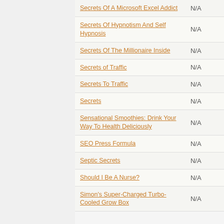| Title | Value |
| --- | --- |
| Secrets Of A Microsoft Excel Addict | N/A |
| Secrets Of Hypnotism And Self Hypnosis | N/A |
| Secrets Of The Millionaire Inside | N/A |
| Secrets of Traffic | N/A |
| Secrets To Traffic | N/A |
| Secrets | N/A |
| Sensational Smoothies: Drink Your Way To Health Deliciously | N/A |
| SEO Press Formula | N/A |
| Septic Secrets | N/A |
| Should I Be A Nurse? | N/A |
| Simon's Super-Charged Turbo-Cooled Grow Box | N/A |